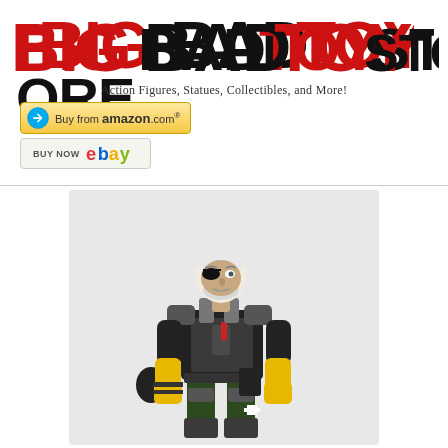[Figure (logo): BigBadToyStore logo with BIG in red bold text and BADTOYSTORE in black bold text]
Action Figures, Statues, Collectibles, and More!
[Figure (other): Buy from amazon.com button with yellow gradient background and arrow logo]
[Figure (other): BUY NOW ebay button with eBay multicolor logo]
[Figure (photo): Action figure of an older military character with white hair, eye patch, black and green tactical outfit, yellow arms and hands, standing on light gray background]